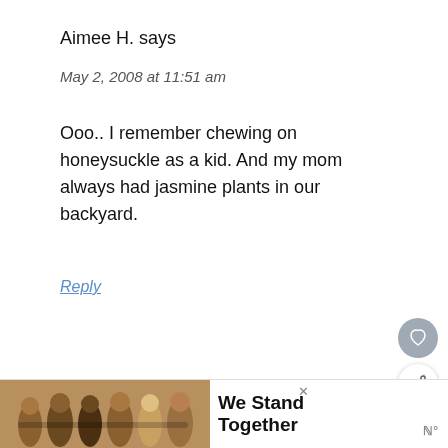Aimee H. says
May 2, 2008 at 11:51 am
Ooo.. I remember chewing on honeysuckle as a kid. And my mom always had jasmine plants in our backyard.
Reply
Ange C. says
May 2, 2008 at 11:53 am
[Figure (infographic): We Stand Together advertisement banner with photo of people with arms around each other]
WHAT'S NEXT → Peep Fuel